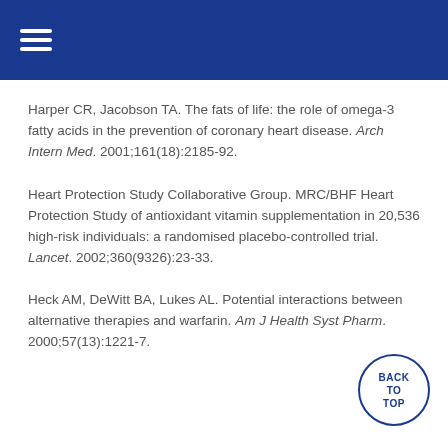Harper CR, Jacobson TA. The fats of life: the role of omega-3 fatty acids in the prevention of coronary heart disease. Arch Intern Med. 2001;161(18):2185-92.
Heart Protection Study Collaborative Group. MRC/BHF Heart Protection Study of antioxidant vitamin supplementation in 20,536 high-risk individuals: a randomised placebo-controlled trial. Lancet. 2002;360(9326):23-33.
Heck AM, DeWitt BA, Lukes AL. Potential interactions between alternative therapies and warfarin. Am J Health Syst Pharm. 2000;57(13):1221-7.